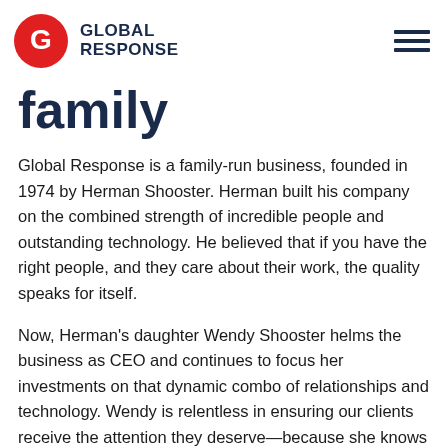GLOBAL RESPONSE
family
Global Response is a family-run business, founded in 1974 by Herman Shooster. Herman built his company on the combined strength of incredible people and outstanding technology. He believed that if you have the right people, and they care about their work, the quality speaks for itself.
Now, Herman's daughter Wendy Shooster helms the business as CEO and continues to focus her investments on that dynamic combo of relationships and technology. Wendy is relentless in ensuring our clients receive the attention they deserve—because she knows we are vital to their success.